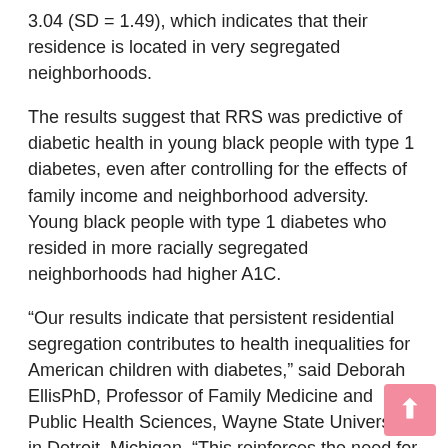3.04 (SD = 1.49), which indicates that their residence is located in very segregated neighborhoods.
The results suggest that RRS was predictive of diabetic health in young black people with type 1 diabetes, even after controlling for the effects of family income and neighborhood adversity. Young black people with type 1 diabetes who resided in more racially segregated neighborhoods had higher A1C.
“Our results indicate that persistent residential segregation contributes to health inequalities for American children with diabetes,” said Deborah EllisPhD, Professor of Family Medicine and Public Health Sciences, Wayne State University in Detroit, Michigan. “This reinforces the need for health care providers to identify and address the social determinants of health in order to effectively meet the care needs of children as we work to reduce the burden of type 1 diabetes at scale. national.”
The authors note that advocacy and policy development are needed to address inequities and improve the health of the